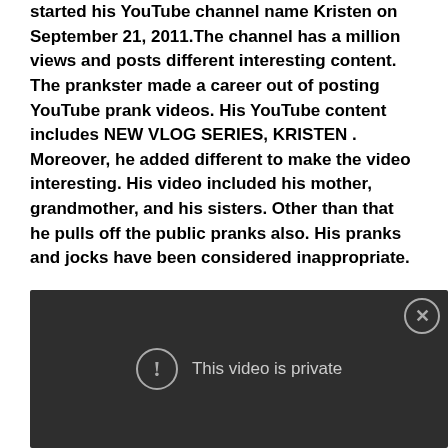started his YouTube channel name Kristen on September 21, 2011.The channel has a million views and posts different interesting content. The prankster made a career out of posting YouTube prank videos. His YouTube content includes NEW VLOG SERIES, KRISTEN . Moreover, he added different to make the video interesting. His video included his mother, grandmother, and his sisters. Other than that he pulls off the public pranks also. His pranks and jocks have been considered inappropriate.
[Figure (screenshot): Embedded video player showing a dark background with a circular exclamation mark icon and the text 'This video is private', with an X close button in the top right corner.]